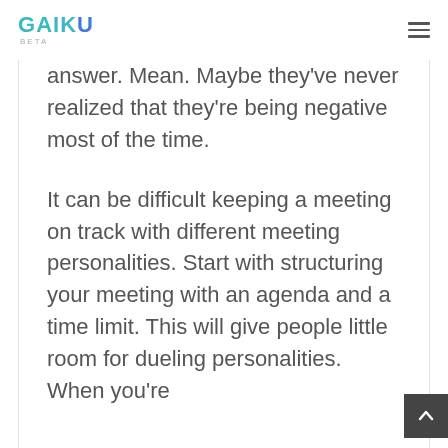GAIKU BETA
answer. Mean. Maybe they've never realized that they're being negative most of the time.
It can be difficult keeping a meeting on track with different meeting personalities. Start with structuring your meeting with an agenda and a time limit. This will give people little room for dueling personalities. When you're